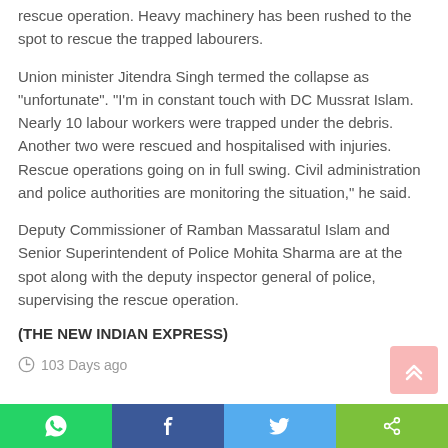rescue operation. Heavy machinery has been rushed to the spot to rescue the trapped labourers.
Union minister Jitendra Singh termed the collapse as "unfortunate". "I'm in constant touch with DC Mussrat Islam. Nearly 10 labour workers were trapped under the debris. Another two were rescued and hospitalised with injuries. Rescue operations going on in full swing. Civil administration and police authorities are monitoring the situation," he said.
Deputy Commissioner of Ramban Massaratul Islam and Senior Superintendent of Police Mohita Sharma are at the spot along with the deputy inspector general of police, supervising the rescue operation.
(THE NEW INDIAN EXPRESS)
103 Days ago